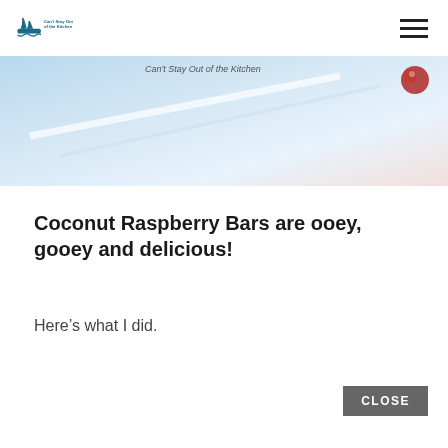Can't Stay Out of the Kitchen [logo + hamburger menu]
[Figure (photo): Partial food/kitchen photo showing a light blue-white background with a diagonal line and a red berry or fruit in the upper right. Text overlay reads 'Can't Stay Out of the Kitchen'.]
Coconut Raspberry Bars are ooey, gooey and delicious!
Here’s what I did.